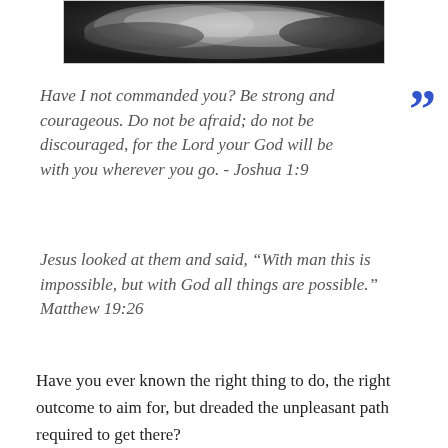[Figure (photo): Dramatic cloudy sky photograph, dark storm clouds]
Have I not commanded you? Be strong and courageous. Do not be afraid; do not be discouraged, for the Lord your God will be with you wherever you go. - Joshua 1:9
Jesus looked at them and said, “With man this is impossible, but with God all things are possible.” Matthew 19:26
Have you ever known the right thing to do, the right outcome to aim for, but dreaded the unpleasant path required to get there?